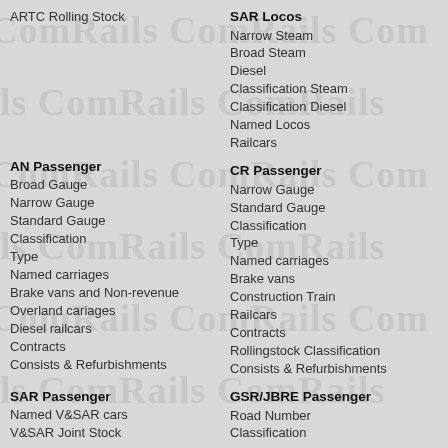ARTC Rolling Stock
SAR Locos
Narrow Steam
Broad Steam
Diesel
Classification Steam
Classification Diesel
Named Locos
Railcars
AN Passenger
Broad Gauge
Narrow Gauge
Standard Gauge
Classification
Type
Named carriages
Brake vans and Non-revenue
Overland cariages
Diesel railcars
Contracts
Consists & Refurbishments
SAR Passenger
Named V&SAR cars
V&SAR Joint Stock
CR Passenger
Narrow Gauge
Standard Gauge
Classification
Type
Named carriages
Brake vans
Construction Train
Railcars
Contracts
Rollingstock Classification
Consists & Refurbishments
GSR/JBRE Passenger
Road Number
Classification